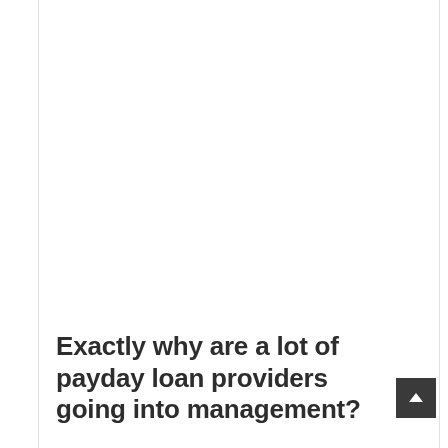Exactly why are a lot of payday loan providers going into management?